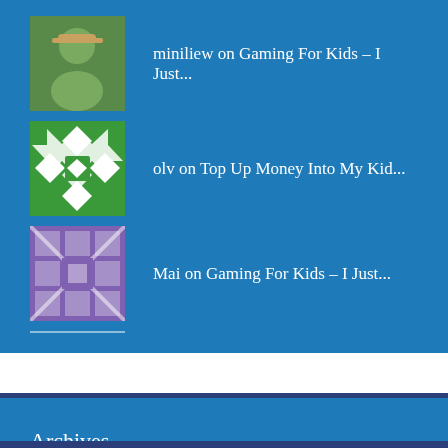miniliew on Gaming For Kids – I Just...
olv on Top Up Money Into My Kid...
Mai on Gaming For Kids – I Just...
Archives
Select Month